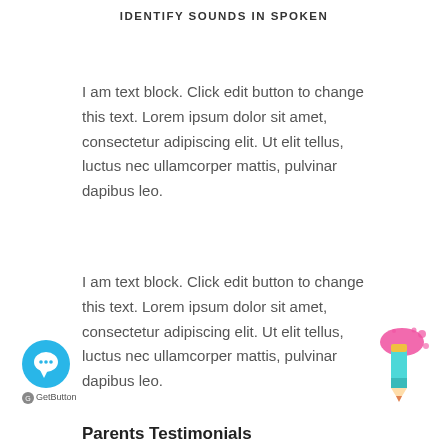IDENTIFY SOUNDS IN SPOKEN
I am text block. Click edit button to change this text. Lorem ipsum dolor sit amet, consectetur adipiscing elit. Ut elit tellus, luctus nec ullamcorper mattis, pulvinar dapibus leo.
I am text block. Click edit button to change this text. Lorem ipsum dolor sit amet, consectetur adipiscing elit. Ut elit tellus, luctus nec ullamcorper mattis, pulvinar dapibus leo.
[Figure (illustration): Chat button icon — blue circle with speech bubble]
[Figure (illustration): Pencil icon with pink paint splatter]
GetButton
Parents Testimonials